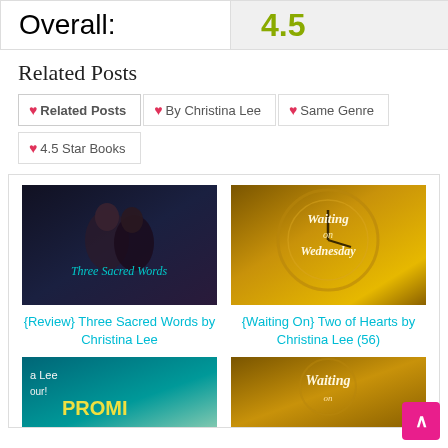| Overall: | 4.5 |
| --- | --- |
Related Posts
❤ Related Posts   ❤ By Christina Lee   ❤ Same Genre
❤ 4.5 Star Books
[Figure (photo): Book cover for Three Sacred Words showing couple almost kissing, dark tones, teal title text overlay]
{Review} Three Sacred Words by Christina Lee
[Figure (photo): Book cover for Waiting on Wednesday with gold clock/compass background and script title text]
{Waiting On} Two of Hearts by Christina Lee (56)
[Figure (photo): Partial book cover - teal/yellow, text partially visible: 'a Lee', 'our!', 'PROMI']
[Figure (photo): Partial book cover - gold tones, partial 'Waiting' script text visible]